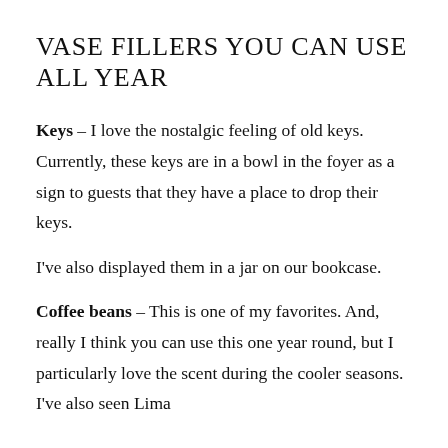VASE FILLERS YOU CAN USE ALL YEAR
Keys – I love the nostalgic feeling of old keys. Currently, these keys are in a bowl in the foyer as a sign to guests that they have a place to drop their keys.
I've also displayed them in a jar on our bookcase.
Coffee beans – This is one of my favorites. And, really I think you can use this one year round, but I particularly love the scent during the cooler seasons. I've also seen Lima